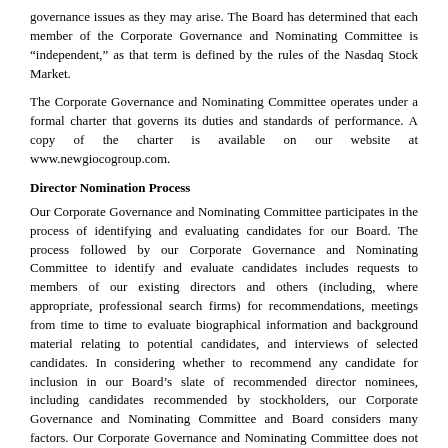governance issues as they may arise. The Board has determined that each member of the Corporate Governance and Nominating Committee is "independent," as that term is defined by the rules of the Nasdaq Stock Market.
The Corporate Governance and Nominating Committee operates under a formal charter that governs its duties and standards of performance. A copy of the charter is available on our website at www.newgiocogroup.com.
Director Nomination Process
Our Corporate Governance and Nominating Committee participates in the process of identifying and evaluating candidates for our Board. The process followed by our Corporate Governance and Nominating Committee to identify and evaluate candidates includes requests to members of our existing directors and others (including, where appropriate, professional search firms) for recommendations, meetings from time to time to evaluate biographical information and background material relating to potential candidates, and interviews of selected candidates. In considering whether to recommend any candidate for inclusion in our Board’s slate of recommended director nominees, including candidates recommended by stockholders, our Corporate Governance and Nominating Committee and Board considers many factors. Our Corporate Governance and Nominating Committee does not have a diversity policy; however, its goal is to nominate candidates from a broad range of experiences and backgrounds who can contribute to our Board by reflecting on a range of perspectives, thereby increasing the Board’s overall effectiveness. In identifying and recommending nominees for positions on our Board, our Corporate Governance and Nominating Committee places primary emphasis on the candidate’s personal and professional integrity, experience in corporate